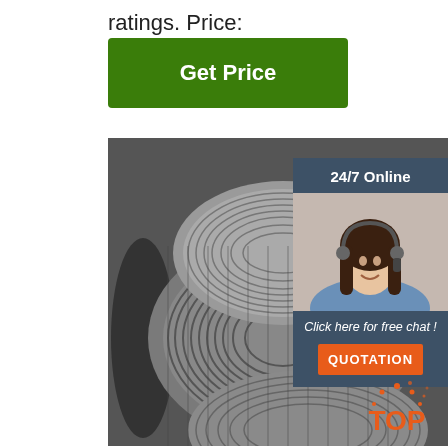ratings. Price:
[Figure (other): Green 'Get Price' button]
[Figure (photo): Large coils of steel wire rod stacked in a warehouse, dark gray metallic wire spools]
[Figure (infographic): 24/7 Online chat widget with a customer service agent photo, 'Click here for free chat!' text, and orange QUOTATION button, dark blue-gray background]
[Figure (other): Orange TOP badge with dots icon in bottom right corner]